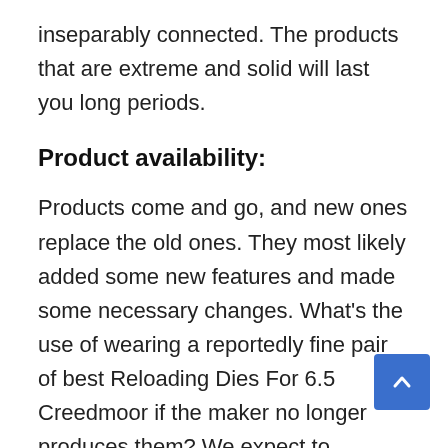inseparably connected. The products that are extreme and solid will last you long periods.
Product availability:
Products come and go, and new ones replace the old ones. They most likely added some new features and made some necessary changes. What's the use of wearing a reportedly fine pair of best Reloading Dies For 6.5 Creedmoor if the maker no longer produces them? We expect to incorporate everyday items sold